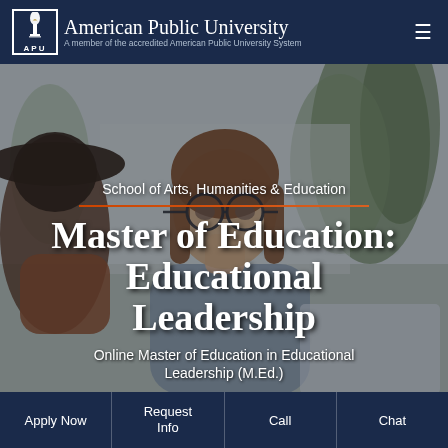American Public University — A member of the accredited American Public University System
[Figure (photo): Young woman with glasses and long brown hair seated indoors near plants, with another person partially visible on the left wearing a hat and brown sweater.]
School of Arts, Humanities & Education
Master of Education: Educational Leadership
Online Master of Education in Educational Leadership (M.Ed.)
Apply Now | Request Info | Call | Chat